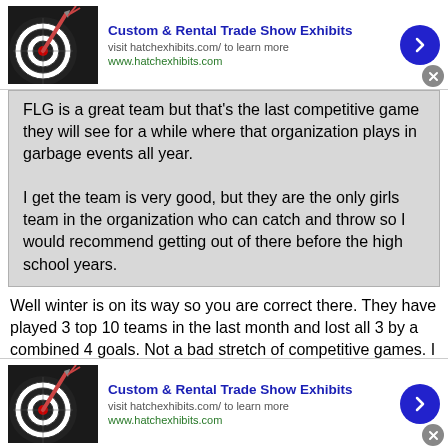[Figure (screenshot): Top ad banner: Custom & Rental Trade Show Exhibits, hatchexhibits.com, with dart board image and blue arrow button]
FLG is a great team but that's the last competitive game they will see for a while where that organization plays in garbage events all year.

I get the team is very good, but they are the only girls team in the organization who can catch and throw so I would recommend getting out of there before the high school years.
Well winter is on its way so you are correct there. They have played 3 top 10 teams in the last month and lost all 3 by a combined 4 goals. Not a bad stretch of competitive games. I think they'll be ok. They are 12, happy and playing great lacrosse. If they are good enough to play at the next and if they actually want to play at the next level they will be found regardless of what club they play for.
[Figure (screenshot): Bottom ad banner: Custom & Rental Trade Show Exhibits, hatchexhibits.com, with dart board image and blue arrow button]